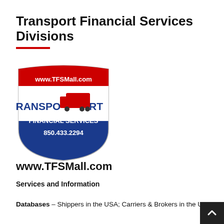Transport Financial Services Divisions
[Figure (logo): Transport Financial Services shield logo with www.TFSMall.com at the top, a red transport truck image in the center with TRANSPORT text, FINANCIAL SERVICES below, and phone number 850.433.2294 at the bottom. Blue and red shield shape.]
www.TFSMall.com
Services and Information
Databases – Shippers in the USA; Carriers & Brokers in the USA